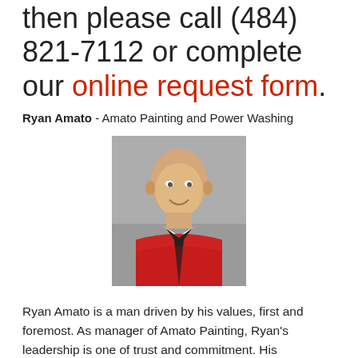then please call (484) 821-7112 or complete our online request form.
Ryan Amato - Amato Painting and Power Washing
[Figure (photo): Headshot photo of Ryan Amato, a bald man wearing a red jacket, smiling, against a grey background]
Ryan Amato is a man driven by his values, first and foremost. As manager of Amato Painting, Ryan's leadership is one of trust and commitment. His relationships with his team are as important as those with his clients. His motivation to provide professional service is driven by a dependable workmanship that secures their reputation of being the best at what they do. No matter the size of the project, Ryan is adept at meeting deadlines and budgets.
As an award winner for his outstanding painting work, Ryan's